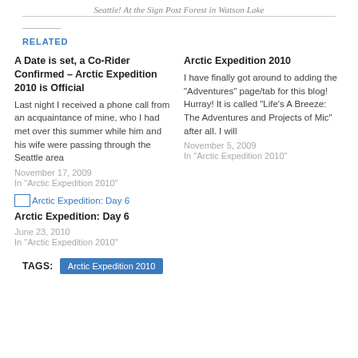Seattle! At the Sign Post Forest in Watson Lake
RELATED
A Date is set, a Co-Rider Confirmed – Arctic Expedition 2010 is Official
Last night I received a phone call from an acquaintance of mine, who I had met over this summer while him and his wife were passing through the Seattle area
November 17, 2009
In "Arctic Expedition 2010"
Arctic Expedition 2010
I have finally got around to adding the "Adventures" page/tab for this blog! Hurray!  It is called "Life's A Breeze: The Adventures and Projects of Mic" after all. I will
November 5, 2009
In "Arctic Expedition 2010"
[Figure (photo): Small thumbnail image for Arctic Expedition: Day 6 blog post]
Arctic Expedition: Day 6
June 23, 2010
In "Arctic Expedition 2010"
TAGS: Arctic Expedition 2010